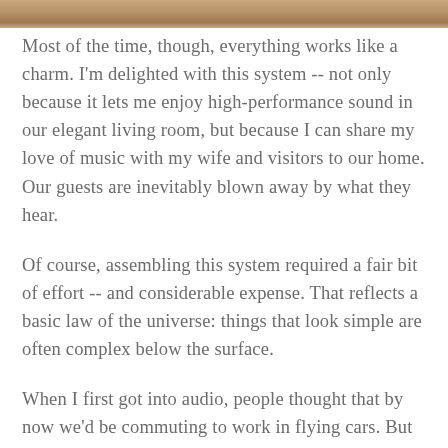[Figure (photo): Partial photo strip at top of page, showing warm brown tones, likely a living room or audio equipment scene.]
Most of the time, though, everything works like a charm. I'm delighted with this system -- not only because it lets me enjoy high-performance sound in our elegant living room, but because I can share my love of music with my wife and visitors to our home. Our guests are inevitably blown away by what they hear.
Of course, assembling this system required a fair bit of effort -- and considerable expense. That reflects a basic law of the universe: things that look simple are often complex below the surface.
When I first got into audio, people thought that by now we'd be commuting to work in flying cars. But no one imagined that we'd be able to use a handheld screen to cue up whatever music we wanted to hear, and have it play in glorious high fidelity. If you ask me, Simplified is far more remarkable than flying cars.